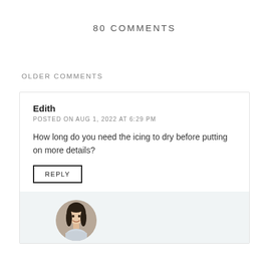80 COMMENTS
OLDER COMMENTS
Edith
POSTED ON AUG 1, 2022 AT 6:29 PM
How long do you need the icing to dry before putting on more details?
REPLY
[Figure (photo): Circular avatar photo of a woman with long dark hair, smiling, partially cropped at bottom of page]